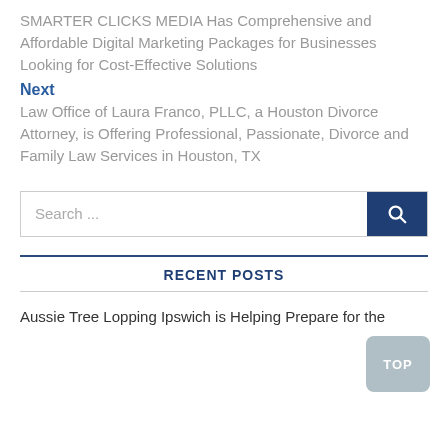SMARTER CLICKS MEDIA Has Comprehensive and Affordable Digital Marketing Packages for Businesses Looking for Cost-Effective Solutions
Next
Law Office of Laura Franco, PLLC, a Houston Divorce Attorney, is Offering Professional, Passionate, Divorce and Family Law Services in Houston, TX
Search ...
RECENT POSTS
TOP
Aussie Tree Lopping Ipswich is Helping Prepare for the